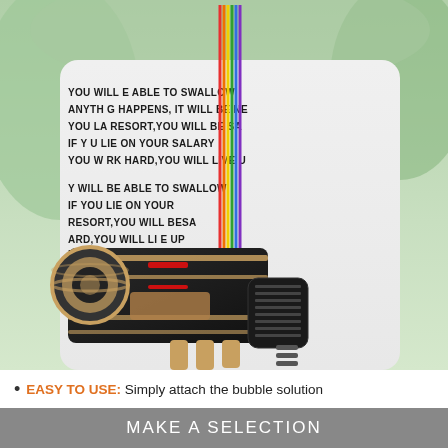[Figure (photo): A child wearing a white t-shirt with repeated motivational text, holding a large sci-fi style bubble gun gauntlet toy in black and gold/copper colors, with a rainbow-colored wrist strap. Background is blurred outdoor greenery.]
EASY TO USE: Simply attach the bubble solution
MAKE A SELECTION